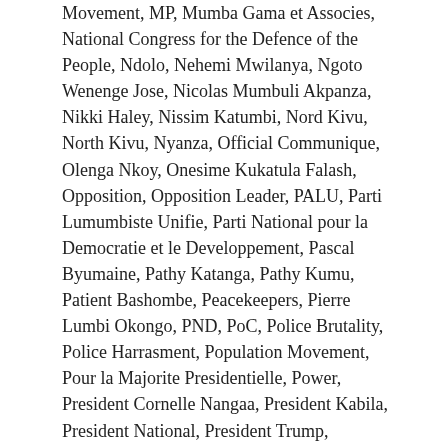Movement, MP, Mumba Gama et Associes, National Congress for the Defence of the People, Ndolo, Nehemi Mwilanya, Ngoto Wenenge Jose, Nicolas Mumbuli Akpanza, Nikki Haley, Nissim Katumbi, Nord Kivu, North Kivu, Nyanza, Official Communique, Olenga Nkoy, Onesime Kukatula Falash, Opposition, Opposition Leader, PALU, Parti Lumumbiste Unifie, Parti National pour la Democratie et le Developpement, Pascal Byumaine, Pathy Katanga, Pathy Kumu, Patient Bashombe, Peacekeepers, Pierre Lumbi Okongo, PND, PoC, Police Brutality, Police Harrasment, Population Movement, Pour la Majorite Presidentielle, Power, President Cornelle Nangaa, President Kabila, President National, President Trump, Presidential Term Limits, Presidential Terms, Procureur General de la Republique, Prof. Dyndo Zabondo, Progress, Protection of Civilians, R.D.C., Rassemblement Congolais Pour la Democratie, RDC, RDC MP, Republique Democratique du Congo, Reseau de Jeunes Parementaires, Richard Mudoza, RJP, Rule of Law, Steve Mbikayi, Sylvaine Mushi Bonane, Synergie des Mouvements Citoyens de la Republique